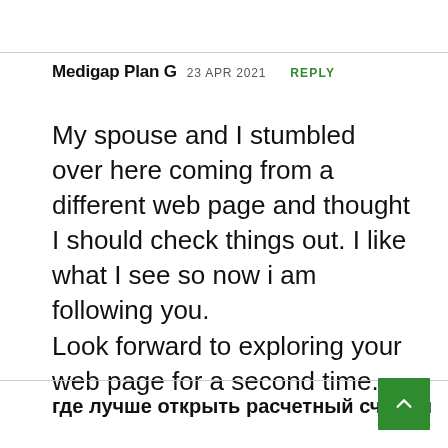Medigap Plan G  23 APR 2021  REPLY
My spouse and I stumbled over here coming from a different web page and thought I should check things out. I like what I see so now i am following you.
Look forward to exploring your web page for a second time.
где лучше открыть расчетный счет ип